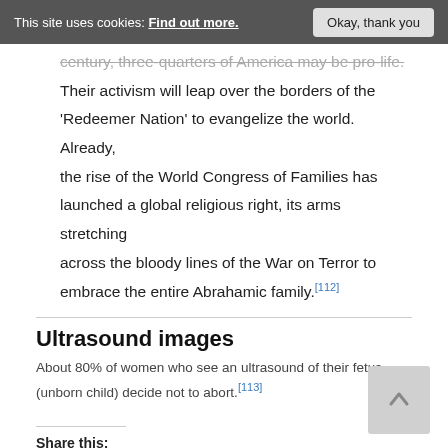This site uses cookies: Find out more. [Okay, thank you button]
century, three-quarters of America may be pro-life. Their activism will leap over the borders of the 'Redeemer Nation' to evangelize the world. Already, the rise of the World Congress of Families has launched a global religious right, its arms stretching across the bloody lines of the War on Terror to embrace the entire Abrahamic family.[112]
Ultrasound images
About 80% of women who see an ultrasound of their fetus (unborn child) decide not to abort.[113]
Share this:
Share